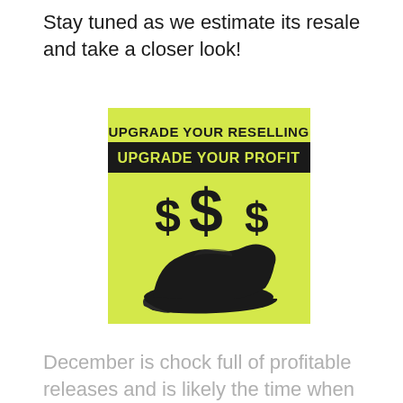Stay tuned as we estimate its resale and take a closer look!
[Figure (illustration): Yellow background promotional image with bold black text 'UPGRADE YOUR RESELLING' at top, then a black banner saying 'UPGRADE YOUR PROFIT', and below a silhouette illustration of dollar signs ($$$ ) above a sneaker shoe.]
December is chock full of profitable releases and is likely the time when